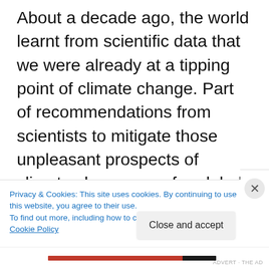About a decade ago, the world learnt from scientific data that we were already at a tipping point of climate change. Part of recommendations from scientists to mitigate those unpleasant prospects of climate change was for global climate action plan aimed at a gradual disengagement from reliance on fossil fuels and to replace it with a lifestyle based on renewable energies. Research into reducing reliance on fossil fuels is on-going; soon Europe and the Americas will begin to run their cars on batteries, water and other
Privacy & Cookies: This site uses cookies. By continuing to use this website, you agree to their use.
To find out more, including how to control cookies, see here: Cookie Policy
Close and accept